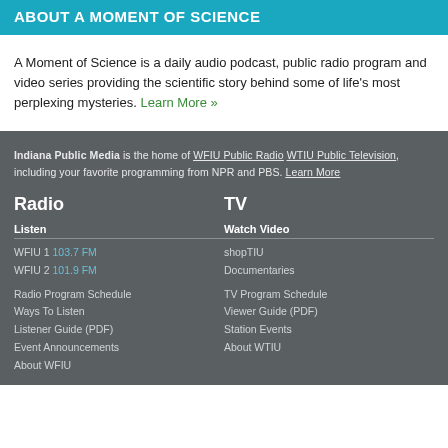ABOUT A MOMENT OF SCIENCE
A Moment of Science is a daily audio podcast, public radio program and video series providing the scientific story behind some of life's most perplexing mysteries. Learn More »
Indiana Public Media is the home of WFIU Public Radio WTIU Public Television, including your favorite programming from NPR and PBS. Learn More
Radio
TV
Listen
Watch Video
WFIU 1 103.7 FM
WFIU 2 101.9 FM
shopTIU
Documentaries
Radio Program Schedule
Ways To Listen
Listener Guide (PDF)
Event Announcements
About WFIU
TV Program Schedule
Viewer Guide (PDF)
Station Events
About WTIU